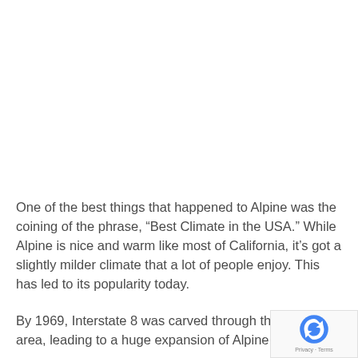One of the best things that happened to Alpine was the coining of the phrase, “Best Climate in the USA.” While Alpine is nice and warm like most of California, it’s got a slightly milder climate that a lot of people enjoy. This has led to its popularity today.
By 1969, Interstate 8 was carved through the in the area, leading to a huge expansion of Alpine.